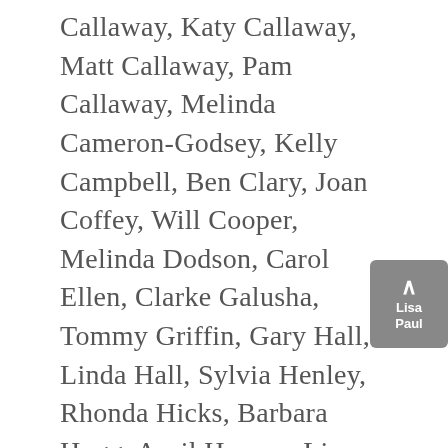Callaway, Katy Callaway, Matt Callaway, Pam Callaway, Melinda Cameron-Godsey, Kelly Campbell, Ben Clary, Joan Coffey, Will Cooper, Melinda Dodson, Carol Ellen, Clarke Galusha, Tommy Griffin, Gary Hall, Linda Hall, Sylvia Henley, Rhonda Hicks, Barbara Hogg, April Hoover, Lisa Hyde, Crystal Kennedy, Christina Lehew, Pat Lowery, DeLeath Ludwig, Cindy Mabry, Melissa McFarland, Mike Means, Hugh Melton, Sarah E. Merkle, Nahid Motie, Chris Stone, Joe Nixon, Janey Pillsbury, Richard Pillsbury, Frank Pope, Spencer Purinton, Donald Putman, Sarah Jane Putman, Eli Rahaim, Emmaline Rahaim, Kyle Rapp, Melanie Price Rapp, Darrin Riley, Lee Scroggins, Liz Slater, Cindy Snelson, Melissa Spears, Liz Slater, Lisa Burton Tarver, Ann Trimble, Minna Ulmer, Paul Waschka, Stacy White, Ramona Wood, and Kelly